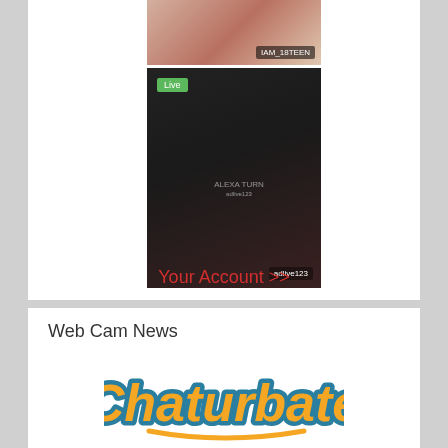[Figure (screenshot): Thumbnail image of a person, cropped torso/upper body, with floral background. Username 'IAM_18TEEN' displayed at bottom.]
[Figure (screenshot): Live video thumbnail of a person in a black t-shirt with long dark hair. Green 'Live' badge at top left. Text 'ALEXA TURN' visible on shirt. Username 'adlive123' at bottom.]
Your Account >>
Web Cam News
[Figure (logo): Chaturbate logo - orange cursive text with teal outline on white background]